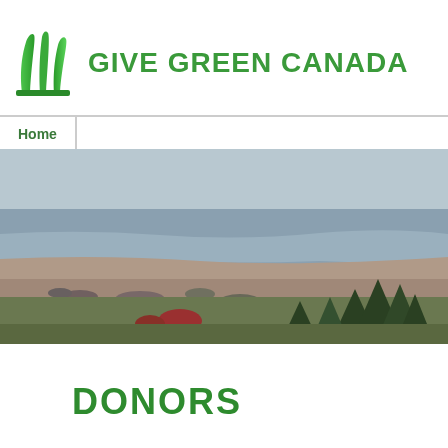[Figure (logo): Give Green Canada logo with green stylized grass/plant icon and green bold text 'GIVE GREEN CANADA']
Home
[Figure (photo): Coastal landscape photo showing a rocky shoreline with low tide, sparse evergreen trees in the foreground, and a gray overcast sky over open water in the background.]
DONORS